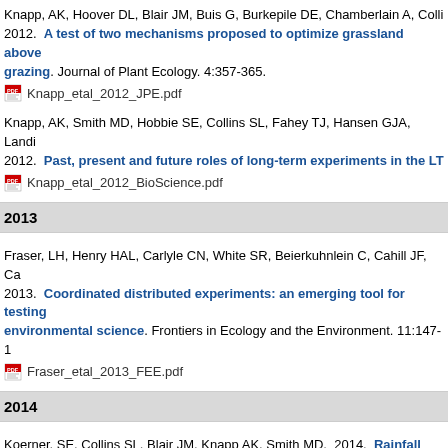Knapp, AK, Hoover DL, Blair JM, Buis G, Burkepile DE, Chamberlain A, Colli... 2012. A test of two mechanisms proposed to optimize grassland above... grazing. Journal of Plant Ecology. 4:357-365.
 Knapp_etal_2012_JPE.pdf
Knapp, AK, Smith MD, Hobbie SE, Collins SL, Fahey TJ, Hansen GJA, Landi... 2012. Past, present and future roles of long-term experiments in the LT...
 Knapp_etal_2012_BioScience.pdf
2013
Fraser, LH, Henry HAL, Carlyle CN, White SR, Beierkuhnlein C, Cahill JF, Ca... 2013. Coordinated distributed experiments: an emerging tool for testing... environmental science. Frontiers in Ecology and the Environment. 11:147-1...
 Fraser_etal_2013_FEE.pdf
2014
Koerner, SE, Collins SL, Blair JM, Knapp AK, Smith MD. 2014. Rainfall vari... from repeated grazing. Journal of Vegetation Science. 25:36-44.
 Koerner_etal_2014_JVS.pdf